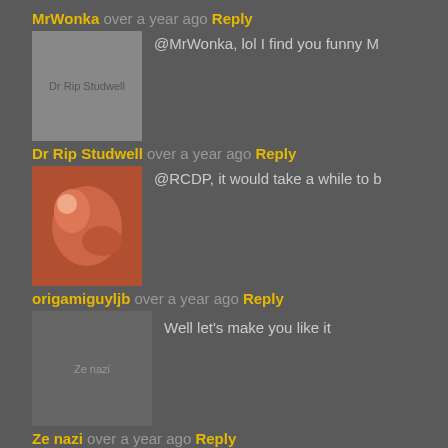MrWonka over a year ago Reply
[Figure (photo): Dr Rip Studwell avatar placeholder]
@MrWonka, lol I find you funny M
Dr Rip Studwell over a year ago Reply
[Figure (photo): Flamingo or bird avatar image]
@RCDP, it would take a while to b
origamiguyljb over a year ago Reply
[Figure (photo): Ze nazi avatar placeholder]
Well let's make you like it
Ze nazi over a year ago Reply
[Figure (photo): Green icon with puzzle/game symbol]
Mlp
BSBurke over a year ago Reply
[Figure (photo): Pink/red Minecraft-style avatar]
Introducing my friend to Fullmetal alch